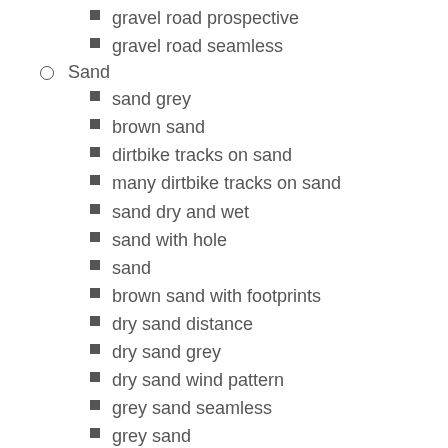gravel road prospective
gravel road seamless
Sand
sand grey
brown sand
dirtbike tracks on sand
many dirtbike tracks on sand
sand dry and wet
sand with hole
sand
brown sand with footprints
dry sand distance
dry sand grey
dry sand wind pattern
grey sand seamless
grey sand
grey wet sand
muddy sand wet
sand brown seamless